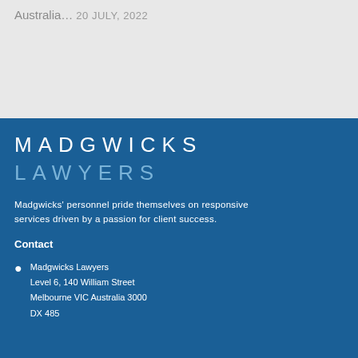Australia…
20 JULY, 2022
MADGWICKS LAWYERS
Madgwicks' personnel pride themselves on responsive services driven by a passion for client success.
Contact
Madgwicks Lawyers
Level 6, 140 William Street
Melbourne VIC Australia 3000
DX 485